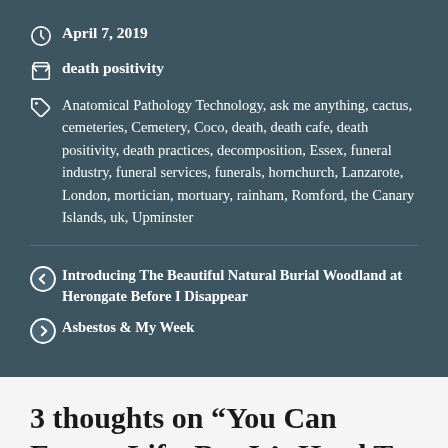April 7, 2019
death positivity
Anatomical Pathology Technology, ask me anything, cactus, cemeteries, Cemetery, Coco, death, death cafe, death positivity, death practices, decomposition, Essex, funeral industry, funeral services, funerals, hornchurch, Lanzarote, London, mortician, mortuary, rainham, Romford, the Canary Islands, uk, Upminster
Introducing The Beautiful Natural Burial Woodland at Herongate Before I Disappear
Asbestos & My Week
3 thoughts on “You Can Escape Life, But It’s Hard To Escape Death”